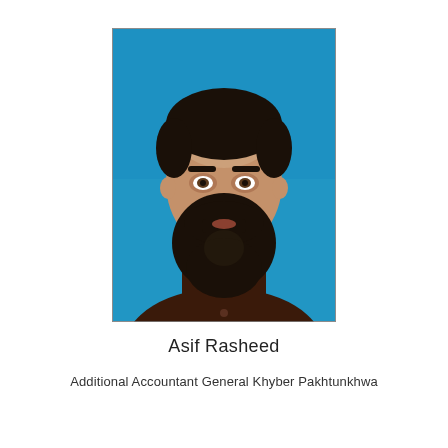[Figure (photo): Passport-style portrait photo of Asif Rasheed, a bearded man wearing a dark brown traditional shalwar kameez, photographed against a bright blue background.]
Asif Rasheed
Additional Accountant General Khyber Pakhtunkhwa